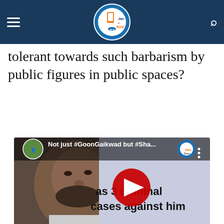Jan ki Baat
want our Parliamentarians or even our citizens to be like... Can we be tolerant towards such barbarism by public figures in public spaces?
[Figure (screenshot): YouTube video thumbnail showing a man's face on the left with text overlay reading 'Not just #GoonGaikwad but #Sha...' at the top and 'as 3 criminal cases against him' on the right side. A red YouTube play button is centered. Jan ki Baat logo appears in top right corner.]
SHARE
[Figure (other): Row of circular social share buttons: yellow (email/link), green (WhatsApp), blue (Facebook), gray (copy/share), teal (Twitter)]